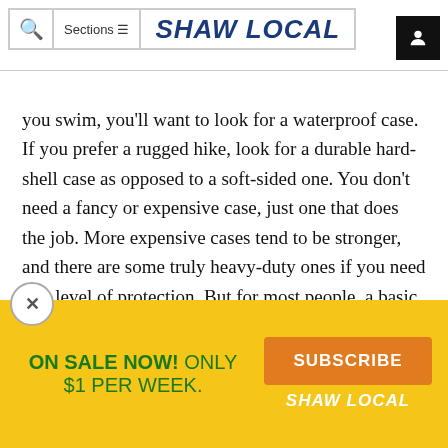SHAW LOCAL
you swim, you'll want to look for a waterproof case. If you prefer a rugged hike, look for a durable hard-shell case as opposed to a soft-sided one. You don't need a fancy or expensive case, just one that does the job. More expensive cases tend to be stronger, and there are some truly heavy-duty ones if you need that level of protection. But for most people, a basic case is fine.
Screen protectors consist of a thin clear plastic film that adheres to your touchscreen with removable adh
ON SALE NOW! ONLY $1 PER WEEK. SUBSCRIBE SHAW LOCAL